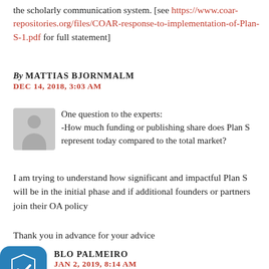the scholarly communication system. [see https://www.coar-repositories.org/files/COAR-response-to-implementation-of-Plan-S-1.pdf for full statement]
By MATTIAS BJORNMALM
DEC 14, 2018, 3:03 AM
One question to the experts:
-How much funding or publishing share does Plan S represent today compared to the total market?
I am trying to understand how significant and impactful Plan S will be in the initial phase and if additional founders or partners join their OA policy
Thank you in advance for your advice
BLO PALMEIRO
JAN 2, 2019, 8:14 AM